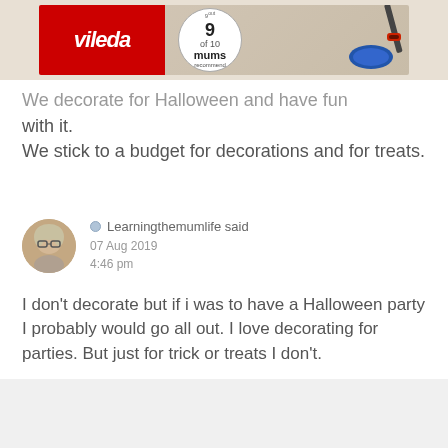[Figure (illustration): Vileda advertisement banner showing the Vileda logo in red, a circular badge reading '9 out of 10 mums recommend', and a mop on the right side against a wood-effect background.]
We decorate for Halloween and have fun with it.
We stick to a budget for decorations and for treats.
Learningthemumlife said
07 Aug 2019
4:46 pm
I don't decorate but if i was to have a Halloween party I probably would go all out. I love decorating for parties. But just for trick or treats I don't.